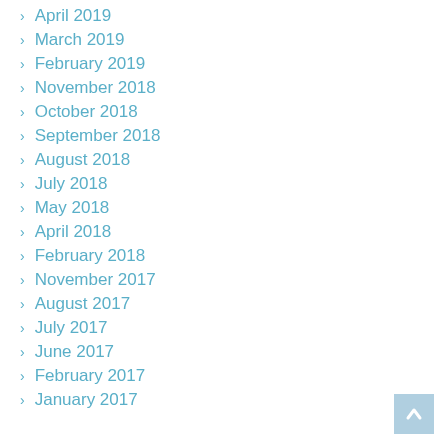April 2019
March 2019
February 2019
November 2018
October 2018
September 2018
August 2018
July 2018
May 2018
April 2018
February 2018
November 2017
August 2017
July 2017
June 2017
February 2017
January 2017